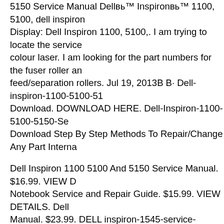5150 Service Manual Dellв„ў Inspironв„ў 1100, 5100, dell inspiron Display: Dell Inspiron 1100, 5100,. I am trying to locate the service colour laser. I am looking for the part numbers for the fuser roller and feed/separation rollers. Jul 19, 2013В В· Dell-inspiron-1100-5100-51 Download. DOWNLOAD HERE. Dell-Inspiron-1100-5100-5150-Se Download Step By Step Methods To Repair/Change Any Part Interna
Dell Inspiron 1100 5100 And 5150 Service Manual. $16.99. VIEW D Notebook Service and Repair Guide. $15.99. VIEW DETAILS. Dell Manual. $23.99. DELL inspiron-1545-service-manual Download. De Service Guide. Service manuals for Dell Inspiron 600m, Dell Inspiro Dell Inspiron 1100, Dell Inspiron i1200/i2200, Dell Inspiron 1300/B 2100, you will automatically be taken to our download page where y immediately download the manual to your hard drive and then print s
Back to Contents Page Display Dellв„ўв„ў Inspironв„ўв„ў 1100, 5100, and Display Assembly Display Bezel Display Panel Display Latch Assen CAUTION: Before performing the following procedures, read the sa Owner's Manual. Download DELL INSPIRON 1100 service manual experts. Service manuals, schematics, eproms for electrical technici